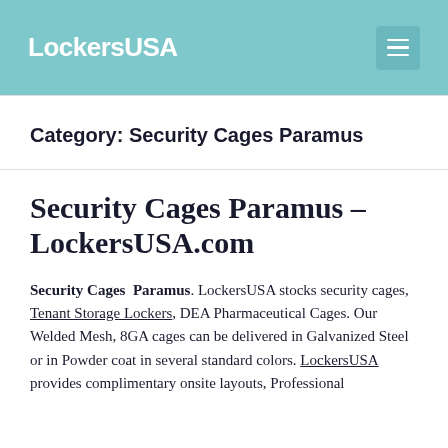LockersUSA
Category: Security Cages Paramus
Security Cages Paramus – LockersUSA.com
Security Cages Paramus. LockersUSA stocks security cages, Tenant Storage Lockers, DEA Pharmaceutical Cages. Our Welded Mesh, 8GA cages can be delivered in Galvanized Steel or in Powder coat in several standard colors. LockersUSA provides complimentary onsite layouts, Professional